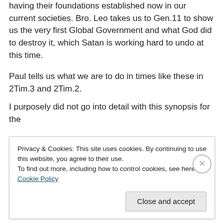having their foundations established now in our current societies. Bro. Leo takes us to Gen.11 to show us the very first Global Government and what God did to destroy it, which Satan is working hard to undo at this time.
Paul tells us what we are to do in times like these in 2Tim.3 and 2Tim.2.
I purposely did not go into detail with this synopsis for the
Privacy & Cookies: This site uses cookies. By continuing to use this website, you agree to their use.
To find out more, including how to control cookies, see here: Cookie Policy